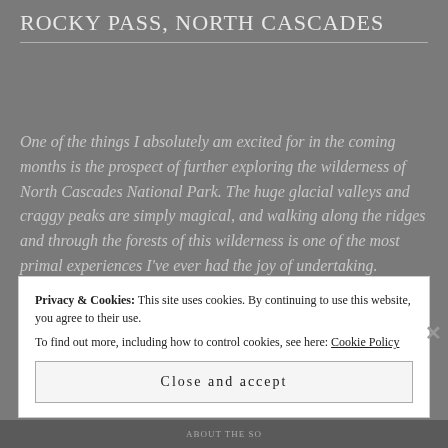Rocky Pass, North Cascades
One of the things I absolutely am excited for in the coming months is the prospect of further exploring the wilderness of North Cascades National Park. The huge glacial valleys and craggy peaks are simply magical, and walking along the ridges and through the forests of this wilderness is one of the most primal experiences I've ever had the joy of undertaking.
Privacy & Cookies: This site uses cookies. By continuing to use this website, you agree to their use. To find out more, including how to control cookies, see here: Cookie Policy
Close and accept
ABOUT THE SO